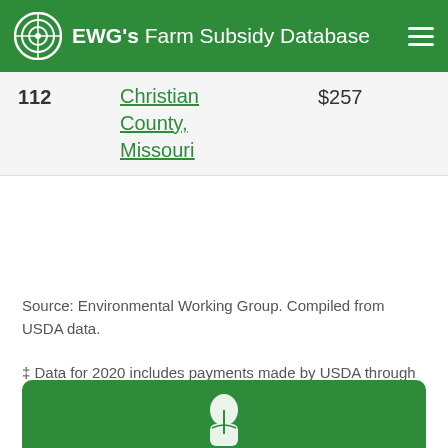EWG's Farm Subsidy Database
| # | Location | Amount |
| --- | --- | --- |
| 112 | Christian County, Missouri | $257 |
Source: Environmental Working Group. Compiled from USDA data.
‡ Data for 2020 includes payments made by USDA through June 30, 2020 and does not include crop insurance premium subsidies.
Farm Subsidies Education
[Figure (illustration): Green card with white book/education icon at bottom of page]